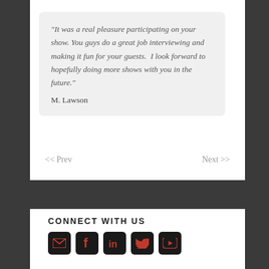“It was a real pleasure participating on your show. You guys do a great job interviewing and making it fun for your guests.  I look forward to hopefully doing more shows with you in the future.” M. Lawson
<< Prev
Next >>
CONNECT WITH US
[Figure (infographic): Five social media icon buttons (email, Facebook, LinkedIn, Twitter, YouTube) on black rounded square backgrounds with red icons]